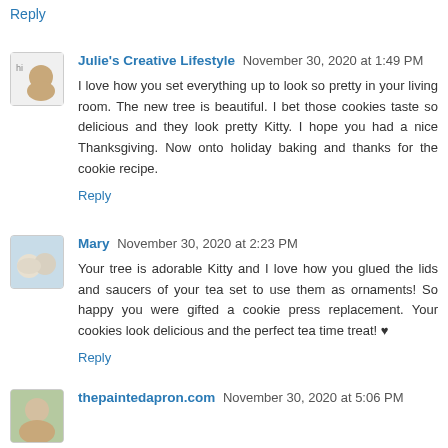Reply
Julie's Creative Lifestyle  November 30, 2020 at 1:49 PM
I love how you set everything up to look so pretty in your living room. The new tree is beautiful. I bet those cookies taste so delicious and they look pretty Kitty. I hope you had a nice Thanksgiving. Now onto holiday baking and thanks for the cookie recipe.
Reply
Mary  November 30, 2020 at 2:23 PM
Your tree is adorable Kitty and I love how you glued the lids and saucers of your tea set to use them as ornaments! So happy you were gifted a cookie press replacement. Your cookies look delicious and the perfect tea time treat! ♥
Reply
thepaintedapron.com  November 30, 2020 at 5:06 PM